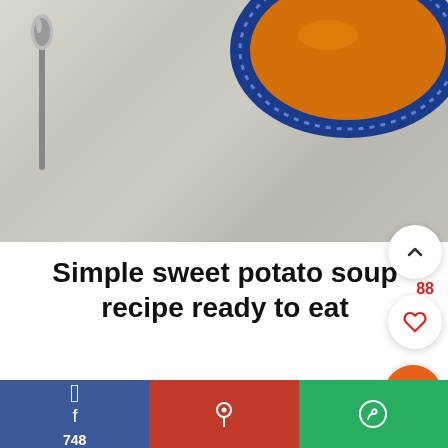[Figure (photo): Overhead view of a bowl of orange sweet potato soup with a blue patterned bowl rim, a black spoon to the left, on a marble/stone surface]
Simple sweet potato soup recipe ready to eat
[Figure (other): Three social sharing buttons at the bottom: Facebook (blue, 748), Pinterest (red, pin icon), WhatsApp (green, chat icon)]